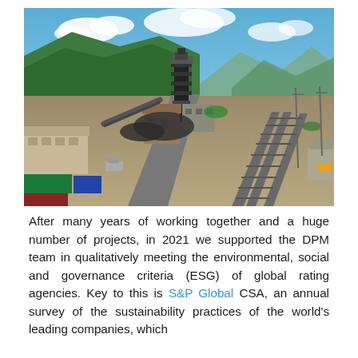[Figure (photo): Aerial view of a mining facility with a tall headframe structure, industrial buildings, conveyor belts, railway tracks, and mountains with green trees in the background under a blue sky with clouds.]
After many years of working together and a huge number of projects, in 2021 we supported the DPM team in qualitatively meeting the environmental, social and governance criteria (ESG) of global rating agencies. Key to this is S&P Global CSA, an annual survey of the sustainability practices of the world's leading companies, which